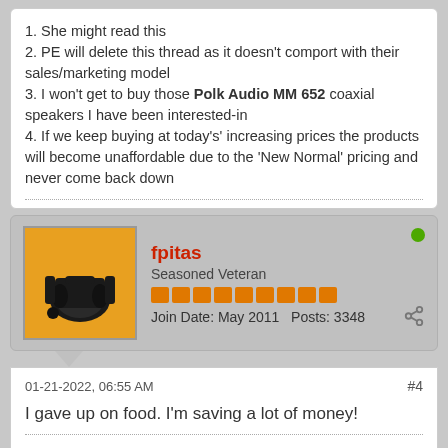1. She might read this
2. PE will delete this thread as it doesn't comport with their sales/marketing model
3. I won't get to buy those Polk Audio MM 652 coaxial speakers I have been interested-in
4. If we keep buying at today's' increasing prices the products will become unaffordable due to the 'New Normal' pricing and never come back down
fpitas
Seasoned Veteran
Join Date: May 2011  Posts: 3348
01-21-2022, 06:55 AM
#4
I gave up on food. I'm saving a lot of money!
Francis